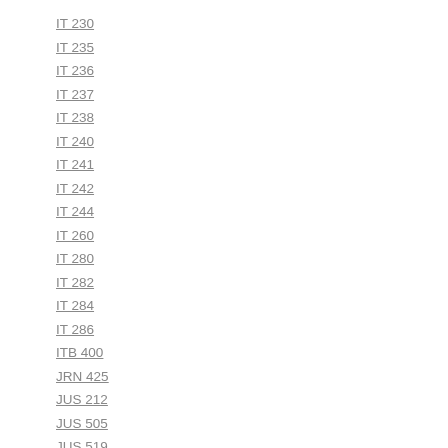IT 230
IT 235
IT 236
IT 237
IT 238
IT 240
IT 241
IT 242
IT 244
IT 260
IT 280
IT 282
IT 284
IT 286
ITB 400
JRN 425
JUS 212
JUS 505
JUS 519